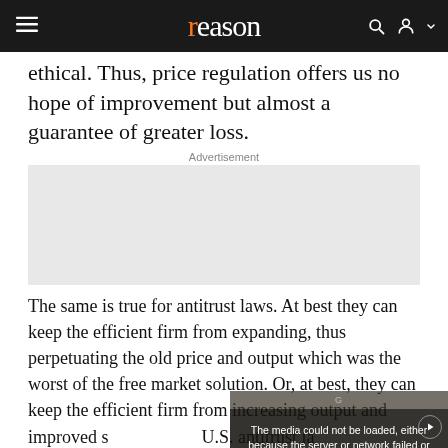reason
ethical. Thus, price regulation offers us no hope of improvement but almost a guarantee of greater loss.
Advertisement
[Figure (other): Advertisement placeholder box (gray rectangle)]
The same is true for antitrust laws. At best they can keep the efficient firm from expanding, thus perpetuating the old price and output which was the worst of the free market solution. Or, at best, they can keep the efficient firm from increasing output and improved s... U.S. antitrust la...
[Figure (other): Video player overlay showing error message: The media could not be loaded, either because the server or network failed or because the format is not supported. With an X dismiss button and play icon.]
GOVERNMENT HELP